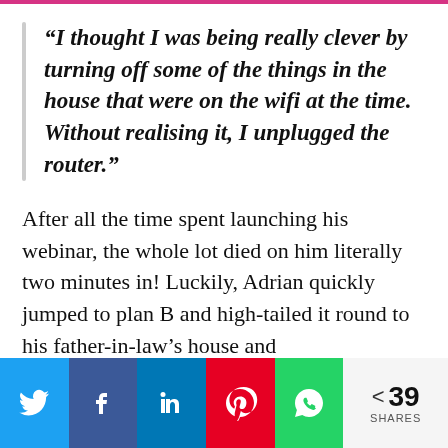“I thought I was being really clever by turning off some of the things in the house that were on the wifi at the time. Without realising it, I unplugged the router.”
After all the time spent launching his webinar, the whole lot died on him literally two minutes in! Luckily, Adrian quickly jumped to plan B and high-tailed it round to his father-in-law’s house and